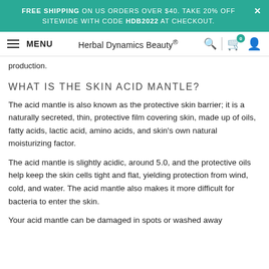FREE SHIPPING ON US ORDERS OVER $40. TAKE 20% OFF SITEWIDE WITH CODE HDB2022 AT CHECKOUT.
MENU | Herbal Dynamics Beauty®
production.
WHAT IS THE SKIN ACID MANTLE?
The acid mantle is also known as the protective skin barrier; it is a naturally secreted, thin, protective film covering skin, made up of oils, fatty acids, lactic acid, amino acids, and skin's own natural moisturizing factor.
The acid mantle is slightly acidic, around 5.0, and the protective oils help keep the skin cells tight and flat, yielding protection from wind, cold, and water. The acid mantle also makes it more difficult for bacteria to enter the skin.
Your acid mantle can be damaged in spots or washed away